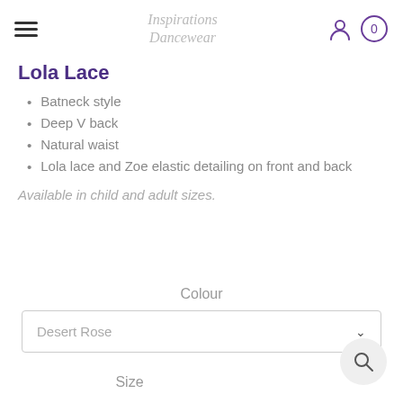Inspirations Dancewear
Lola Lace
Batneck style
Deep V back
Natural waist
Lola lace and Zoe elastic detailing on front and back
Available in child and adult sizes.
Colour
Desert Rose
Size